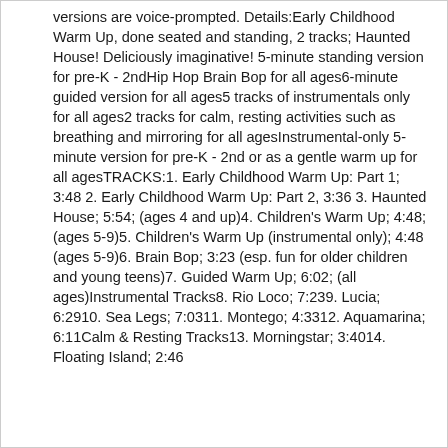versions are voice-prompted. Details:Early Childhood Warm Up, done seated and standing, 2 tracks; Haunted House! Deliciously imaginative! 5-minute standing version for pre-K - 2ndHip Hop Brain Bop for all ages6-minute guided version for all ages5 tracks of instrumentals only for all ages2 tracks for calm, resting activities such as breathing and mirroring for all agesInstrumental-only 5-minute version for pre-K - 2nd or as a gentle warm up for all agesTRACKS:1. Early Childhood Warm Up: Part 1; 3:48 2. Early Childhood Warm Up: Part 2, 3:36 3. Haunted House; 5:54; (ages 4 and up)4. Children's Warm Up; 4:48; (ages 5-9)5. Children's Warm Up (instrumental only); 4:48 (ages 5-9)6. Brain Bop; 3:23 (esp. fun for older children and young teens)7. Guided Warm Up; 6:02; (all ages)Instrumental Tracks8. Rio Loco; 7:239. Lucia; 6:2910. Sea Legs; 7:0311. Montego; 4:3312. Aquamarina; 6:11Calm & Resting Tracks13. Morningstar; 3:4014. Floating Island; 2:46